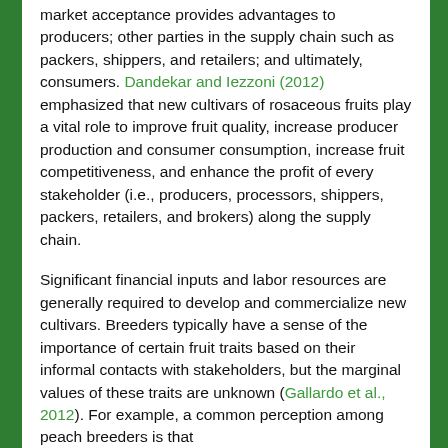market acceptance provides advantages to producers; other parties in the supply chain such as packers, shippers, and retailers; and ultimately, consumers. Dandekar and Iezzoni (2012) emphasized that new cultivars of rosaceous fruits play a vital role to improve fruit quality, increase producer production and consumer consumption, increase fruit competitiveness, and enhance the profit of every stakeholder (i.e., producers, processors, shippers, packers, retailers, and brokers) along the supply chain.
Significant financial inputs and labor resources are generally required to develop and commercialize new cultivars. Breeders typically have a sense of the importance of certain fruit traits based on their informal contacts with stakeholders, but the marginal values of these traits are unknown (Gallardo et al., 2012). For example, a common perception among peach breeders is that